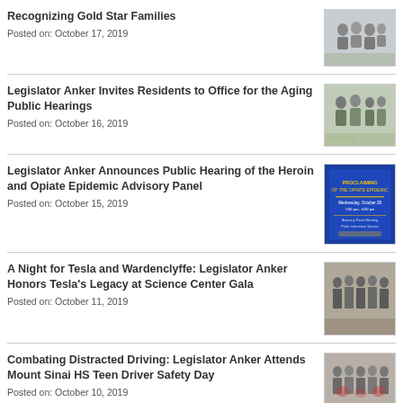Recognizing Gold Star Families
Posted on: October 17, 2019
Legislator Anker Invites Residents to Office for the Aging Public Hearings
Posted on: October 16, 2019
Legislator Anker Announces Public Hearing of the Heroin and Opiate Epidemic Advisory Panel
Posted on: October 15, 2019
A Night for Tesla and Wardenclyffe: Legislator Anker Honors Tesla's Legacy at Science Center Gala
Posted on: October 11, 2019
Combating Distracted Driving: Legislator Anker Attends Mount Sinai HS Teen Driver Safety Day
Posted on: October 10, 2019